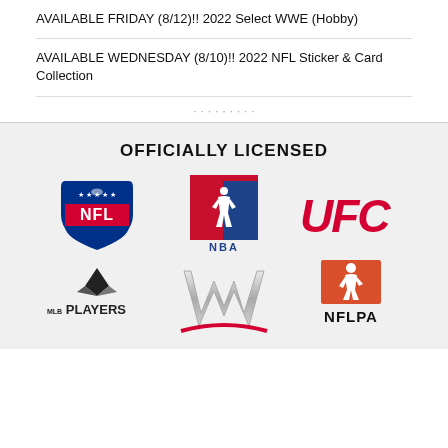AVAILABLE FRIDAY (8/12)!! 2022 Select WWE (Hobby)
AVAILABLE WEDNESDAY (8/10)!! 2022 NFL Sticker & Card Collection
OFFICIALLY LICENSED
[Figure (logo): NFL, NBA, UFC, MLB Players, WWE, NFLPA logos arranged in a 3x2 grid on a light gray background]